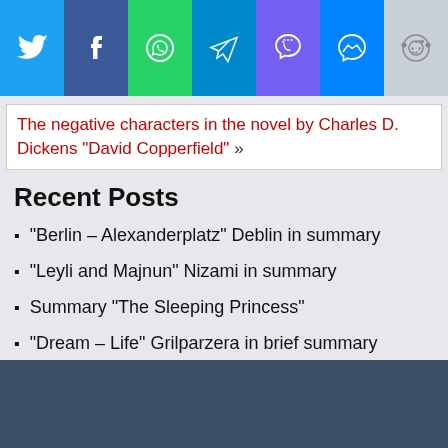[Figure (infographic): Social sharing bar with 7 icons: Twitter (blue), Facebook (dark blue), WhatsApp (green), Telegram (blue), Viber (purple), Messenger (blue), Reddit (gray)]
The negative characters in the novel by Charles D. Dickens “David Copperfield” »
Recent Posts
“Berlin – Alexanderplatz” Deblin in summary
“Leyli and Majnun” Nizami in summary
Summary “The Sleeping Princess”
“Dream – Life” Grilparzera in brief summary
Short summary Zoykina apartment